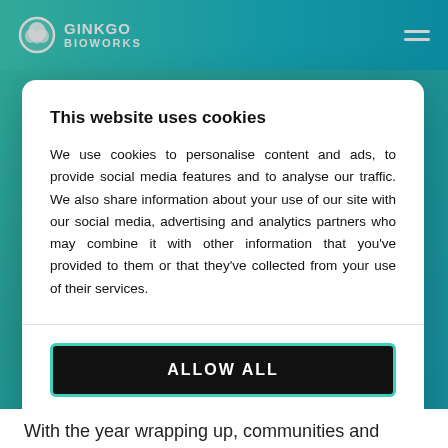GINKGO BIOWORKS
This website uses cookies
We use cookies to personalise content and ads, to provide social media features and to analyse our traffic. We also share information about your use of our site with our social media, advertising and analytics partners who may combine it with other information that you’ve provided to them or that they’ve collected from your use of their services.
ALLOW ALL
CUSTOMIZE >
With the year wrapping up, communities and